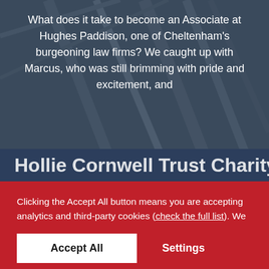[Figure (photo): Background photo of a modern building with steel/glass architectural details, dark blue-grey tones]
What does it take to become an Associate at Hughes Paddison, one of Cheltenham's burgeoning law firms? We caught up with Marcus, who was still brimming with pride and excitement, and
Hollie Cornwell Trust Charity of th...
Clicking the Accept All button means you are accepting analytics and third-party cookies (check the full list). We use cookies to optimise site functionality and give you the best possible experience. To control which cookies are set, click Settings.